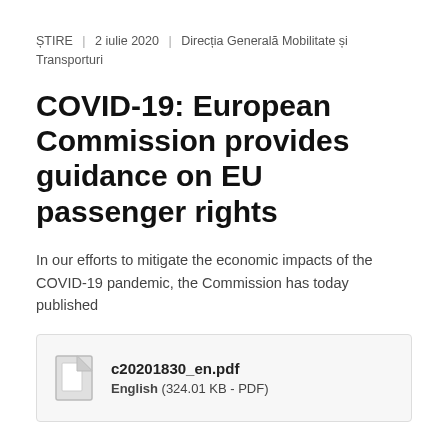ȘTIRE  |  2 iulie 2020  |  Direcția Generală Mobilitate și Transporturi
COVID-19: European Commission provides guidance on EU passenger rights
In our efforts to mitigate the economic impacts of the COVID-19 pandemic, the Commission has today published
[Figure (other): File download box showing c20201830_en.pdf, English (324.01 KB - PDF)]